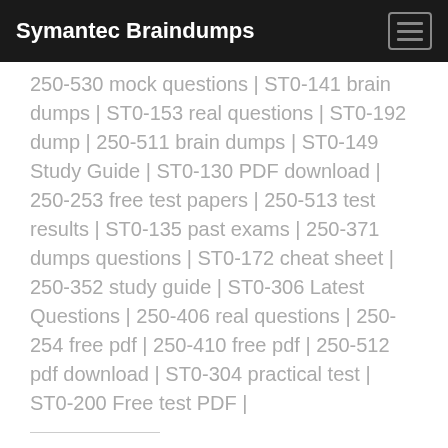Symantec Braindumps
250-530 mock questions | ST0-141 brain dumps | ST0-153 real questions | ST0-192 dump | 250-511 brain dumps | ST0-149 Study Guide | ST0-130 PDF download | 250-253 free test papers | 250-513 test results | ST0-135 past exams | 250-371 dumps questions | ST0-172 cheat sheet | 250-352 study guide | ST0-306 Latest Questions | 250-406 real questions | 250-254 free pdf | 250-410 free pdf | 250-512 pdf download | ST0-304 practical test | ST0-200 Free test PDF |